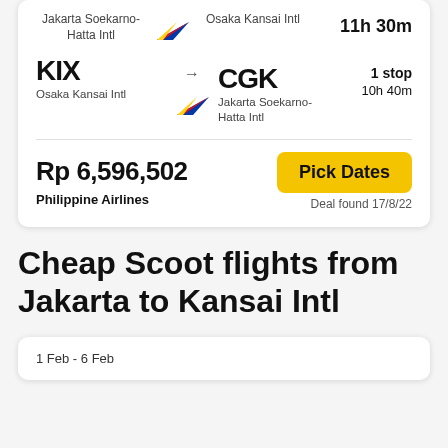Jakarta Soekarno-Hatta Intl → Osaka Kansai Intl  11h 30m
KIX → CGK  1 stop  10h 40m
Osaka Kansai Intl → Jakarta Soekarno-Hatta Intl
Rp 6,596,502
Philippine Airlines
Pick Dates
Deal found 17/8/22
Cheap Scoot flights from Jakarta to Kansai Intl
1 Feb - 6 Feb